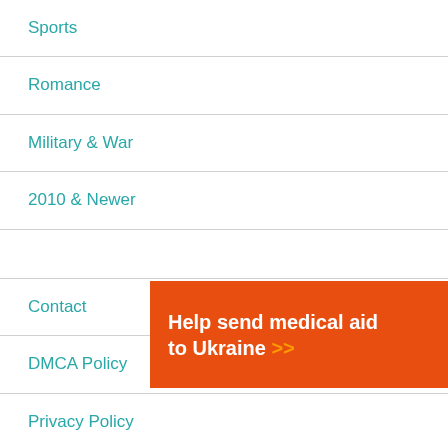Sports
Romance
Military & War
2010 & Newer
Contact
DMCA Policy
Privacy Policy
[Figure (infographic): Orange banner advertisement reading 'Help send medical aid to Ukraine >>' with Direct Relief logo on the right]